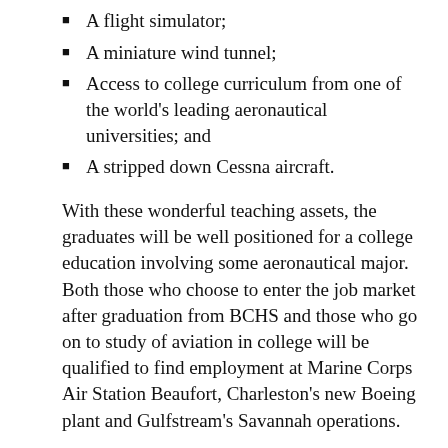A flight simulator;
A miniature wind tunnel;
Access to college curriculum from one of the world's leading aeronautical universities; and
A stripped down Cessna aircraft.
With these wonderful teaching assets, the graduates will be well positioned for a college education involving some aeronautical major. Both those who choose to enter the job market after graduation from BCHS and those who go on to study of aviation in college will be qualified to find employment at Marine Corps Air Station Beaufort, Charleston's new Boeing plant and Gulfstream's Savannah operations.
The enthusiasm of the students is evident in the